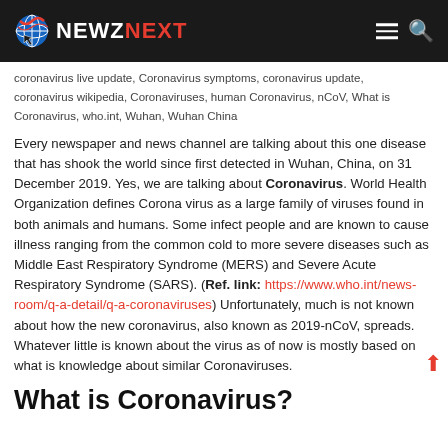NEWZNEXT
coronavirus live update, Coronavirus symptoms, coronavirus update, coronavirus wikipedia, Coronaviruses, human Coronavirus, nCoV, What is Coronavirus, who.int, Wuhan, Wuhan China
Every newspaper and news channel are talking about this one disease that has shook the world since first detected in Wuhan, China, on 31 December 2019. Yes, we are talking about Coronavirus. World Health Organization defines Corona virus as a large family of viruses found in both animals and humans. Some infect people and are known to cause illness ranging from the common cold to more severe diseases such as Middle East Respiratory Syndrome (MERS) and Severe Acute Respiratory Syndrome (SARS). (Ref. link: https://www.who.int/news-room/q-a-detail/q-a-coronaviruses) Unfortunately, much is not known about how the new coronavirus, also known as 2019-nCoV, spreads. Whatever little is known about the virus as of now is mostly based on what is knowledge about similar Coronaviruses.
What is Coronavirus?